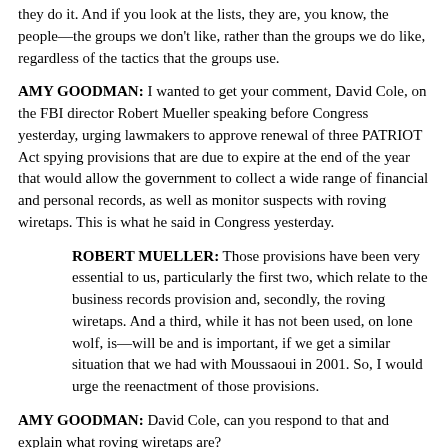they do it. And if you look at the lists, they are, you know, the people—the groups we don't like, rather than the groups we do like, regardless of the tactics that the groups use.
AMY GOODMAN: I wanted to get your comment, David Cole, on the FBI director Robert Mueller speaking before Congress yesterday, urging lawmakers to approve renewal of three PATRIOT Act spying provisions that are due to expire at the end of the year that would allow the government to collect a wide range of financial and personal records, as well as monitor suspects with roving wiretaps. This is what he said in Congress yesterday.
ROBERT MUELLER: Those provisions have been very essential to us, particularly the first two, which relate to the business records provision and, secondly, the roving wiretaps. And a third, while it has not been used, on lone wolf, is—will be and is important, if we get a similar situation that we had with Moussaoui in 2001. So, I would urge the reenactment of those provisions.
AMY GOODMAN: David Cole, can you respond to that and explain what roving wiretaps are?